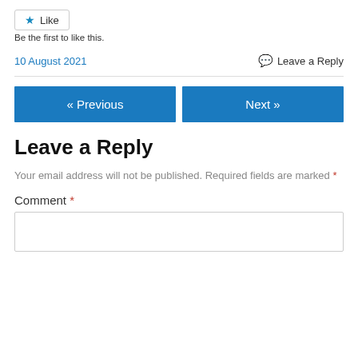[Figure (other): Like button with star icon]
Be the first to like this.
10 August 2021
Leave a Reply
« Previous
Next »
Leave a Reply
Your email address will not be published. Required fields are marked *
Comment *